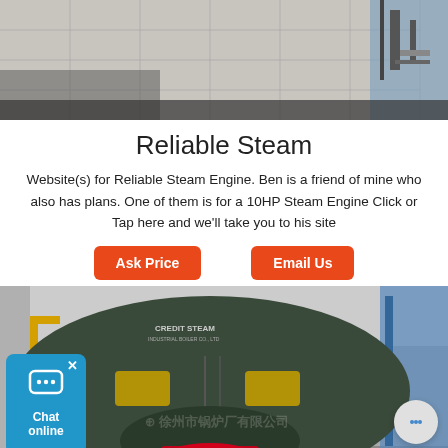[Figure (photo): Top banner photo showing an industrial/warehouse interior with ceiling panels and equipment on the right side]
Reliable Steam
Website(s) for Reliable Steam Engine. Ben is a friend of mine who also has plans. One of them is for a 10HP Steam Engine Click or Tap here and we'll take you to his site
[Figure (other): Two orange buttons: 'Ask Price' and 'Email Us']
[Figure (photo): Large industrial steam boiler (dark green/grey elliptical shape) with a red burner mechanism at front, a person standing beside it in a factory setting. Chat online widget overlay and chat bubble button visible.]